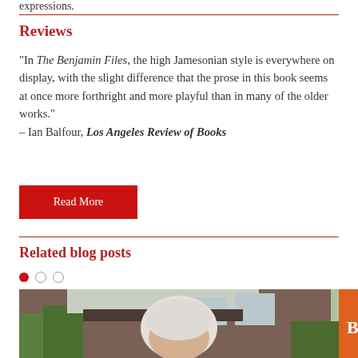expressions.
Reviews
“In The Benjamin Files, the high Jamesonian style is everywhere on display, with the slight difference that the prose in this book seems at once more forthright and more playful than in many of the older works.” – Ian Balfour, Los Angeles Review of Books
Read More
Related blog posts
[Figure (photo): Photograph of an elderly man with white hair and glasses, outdoors in front of a brick building with greenery. A partial orange rectangle with white text is visible on the right edge.]